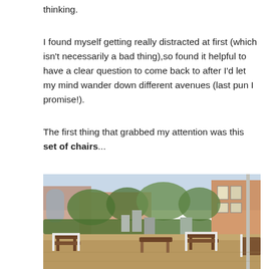thinking.
I found myself getting really distracted at first (which isn't necessarily a bad thing),so found it helpful to have a clear question to come back to after I'd let my mind wander down different avenues (last pun I promise!).
The first thing that grabbed my attention was this set of chairs...
[Figure (photo): Outdoor garden or churchyard area with several wooden and white-framed chairs/benches arranged on a paved area, surrounded by green hedges and trees, with old gravestones visible in the background and brick buildings behind.]